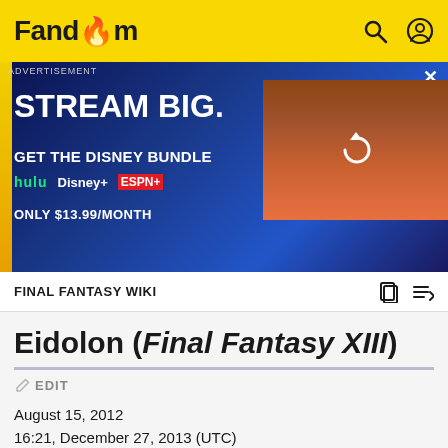Fandom
[Figure (screenshot): Advertisement banner for Disney Bundle: 'STREAM BIG. GET THE DISNEY BUNDLE' with Hulu, Disney+, ESPN+ logos. Only $13.99/month. Right side shows a video player panel with a reload icon.]
FINAL FANTASY WIKI
Eidolon (Final Fantasy XIII)
EDIT
August 15, 2012
16:21, December 27, 2013 (UTC)
For videos, see: Eidolon (Final Fantasy XIII)/Videos.